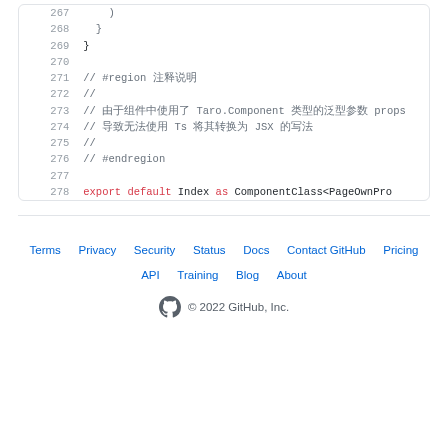Code snippet lines 267-278 showing JavaScript/TypeScript source code with comments and export statement
Terms · Privacy · Security · Status · Docs · Contact GitHub · Pricing · API · Training · Blog · About · © 2022 GitHub, Inc.